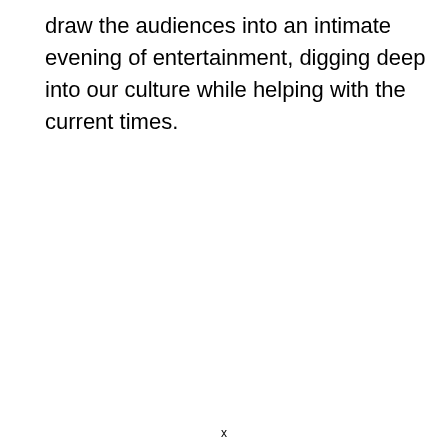draw the audiences into an intimate evening of entertainment, digging deep into our culture while helping with the current times.
x